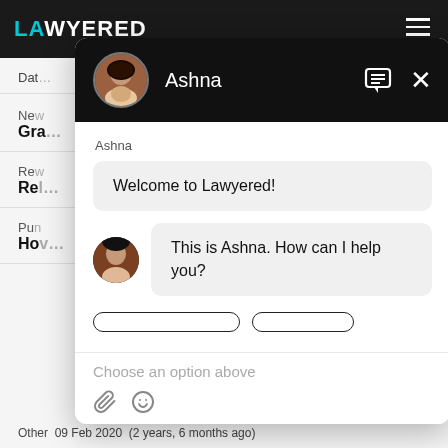[Figure (screenshot): Lawyered website background with dark top navigation bar showing the Lawyered logo in white and teal, and a hamburger menu icon on the right. The main content area shows partial text rows including 'Dat-', 'New', 'Gra', 'Rew', 'Rel-', 'Pun', 'Hov' on the left side, with horizontal dividers. At the bottom: 'Other  09 Feb 2020  (2 years, 6 months ago)'.]
[Figure (screenshot): Chat widget overlay from Lawyered showing a chat interface. Header: black background with circular profile photo and name 'Ashna', chat icon and X close button. Body shows sender label 'Ashna', a light grey bubble saying 'Welcome to Lawyered!', then a second message row with a small circular avatar and grey bubble saying 'This is Ashna. How can I help you?'. Below are two rounded button outlines (options). Input area shows 'Choose an option above' placeholder text, and a toolbar with paperclip and smiley face icons.]
Ashna
Welcome to Lawyered!
This is Ashna. How can I help you?
Choose an option above
Other  09 Feb 2020  (2 years, 6 months ago)